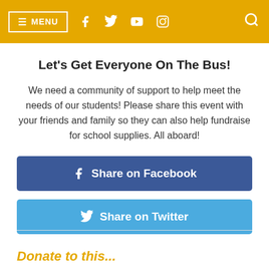≡ MENU  [facebook] [twitter] [youtube] [instagram] [search]
Let's Get Everyone On The Bus!
We need a community of support to help meet the needs of our students! Please share this event with your friends and family so they can also help fundraise for school supplies. All aboard!
[Figure (other): Share on Facebook button - blue rectangular button with Facebook icon and text 'Share on Facebook']
[Figure (other): Share on Twitter button - light blue rectangular button with Twitter bird icon and text 'Share on Twitter']
Donate to this...